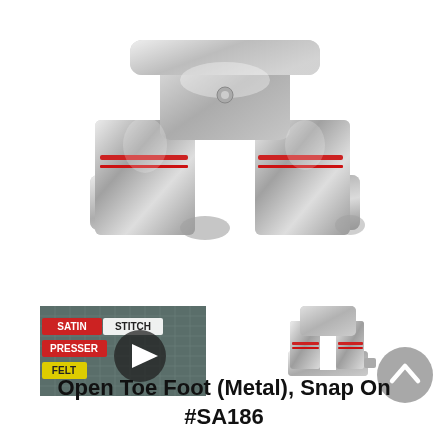[Figure (photo): Close-up photo of a metal open toe sewing machine presser foot, silver/chrome colored with red accent lines, viewed from above at an angle. Two prongs visible at bottom.]
[Figure (screenshot): Video thumbnail showing text 'SATIN STITCH PRESSER FELT' over a quilting mat background with a play button icon in the center.]
[Figure (photo): Small product photo of the metal open toe snap-on presser foot viewed from front/side, showing silver body with red accent strips.]
Open Toe Foot (Metal), Snap On #SA186